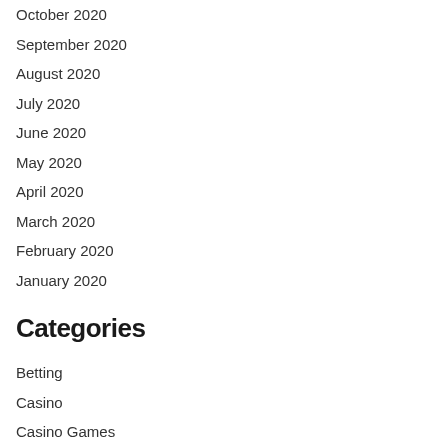October 2020
September 2020
August 2020
July 2020
June 2020
May 2020
April 2020
March 2020
February 2020
January 2020
Categories
Betting
Casino
Casino Games
Ethereum
Gambling